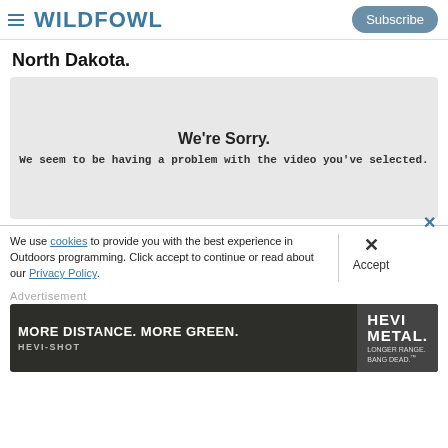WILDFOWL | Subscribe
North Dakota.
[Figure (screenshot): Video player error screen with light gray background showing 'We're Sorry.' in bold and 'We seem to be having a problem with the video you've selected.' below it.]
We use cookies to provide you with the best experience in Outdoors programming. Click accept to continue or read about our Privacy Policy.
Advertisement
[Figure (illustration): Hevi-Shot Hevi-Metal advertisement banner: 'MORE DISTANCE. MORE GREEN. HEVI-SHOT' on dark background with hunting imagery on left and 'HEVI METAL LONGER RANGE. BANG DEAD.' on right.]